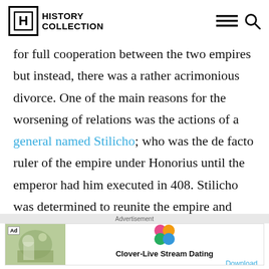HISTORY COLLECTION
for full cooperation between the two empires but instead, there was a rather acrimonious divorce. One of the main reasons for the worsening of relations was the actions of a general named Stilicho; who was the de facto ruler of the empire under Honorius until the emperor had him executed in 408. Stilicho was determined to reunite the empire and viewed himself as the
[Figure (other): Advertisement banner: Clover-Live Stream Dating app ad with Download link]